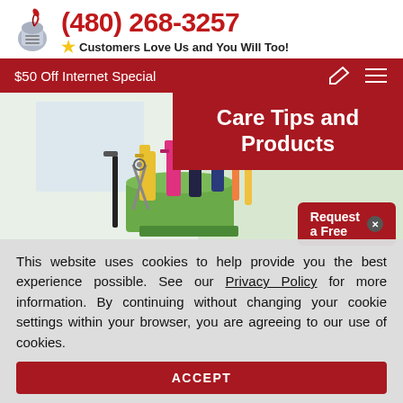(480) 268-3257 — Customers Love Us and You Will Too!
$50 Off Internet Special
[Figure (photo): Cleaning supplies including spray bottles and brushes in a green bucket, with overlay text 'Care Tips and Products' on dark red banner, and a 'Request a Free' button]
This website uses cookies to help provide you the best experience possible. See our Privacy Policy for more information. By continuing without changing your cookie settings within your browser, you are agreeing to our use of cookies.
ACCEPT